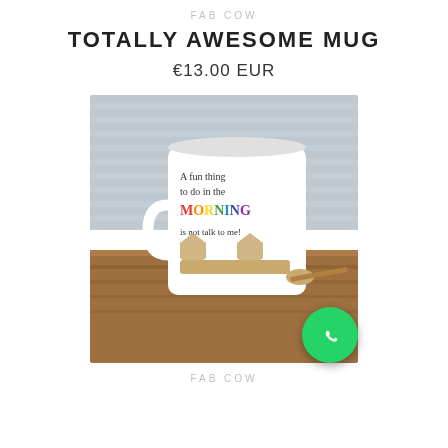FAB COW
TOTALLY AWESOME MUG
€13.00 EUR
[Figure (photo): White ceramic mug with text 'A fun thing to do in the MORNING is not talk to me!' sitting on a wooden hexagonal coaster on a wooden table, with a brick wall background and a wooden spoon beside it. A green WhatsApp phone icon button overlaps the bottom-right corner of the image.]
FAB COW